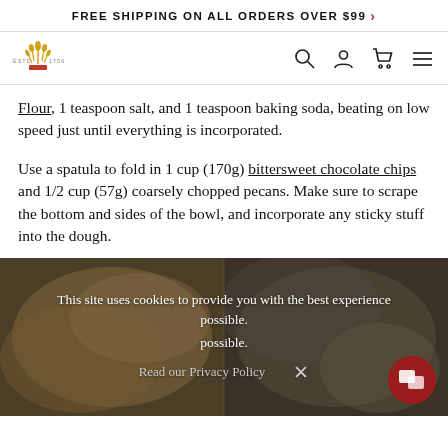FREE SHIPPING ON ALL ORDERS OVER $99 >
[Figure (logo): Website logo with crown/wheat icon, ESTD 1750 text, and navigation icons (search, account, cart, menu)]
Flour, 1 teaspoon salt, and 1 teaspoon baking soda, beating on low speed just until everything is incorporated.
Use a spatula to fold in 1 cup (170g) bittersweet chocolate chips and 1/2 cup (57g) coarsely chopped pecans. Make sure to scrape the bottom and sides of the bowl, and incorporate any sticky stuff into the dough.
[Figure (photo): Two photos showing cookie dough in a bowl, with a cookie consent banner overlay reading 'This site uses cookies to provide you with the best experience possible. Read our Privacy Policy X' and a red chat button in the bottom right]